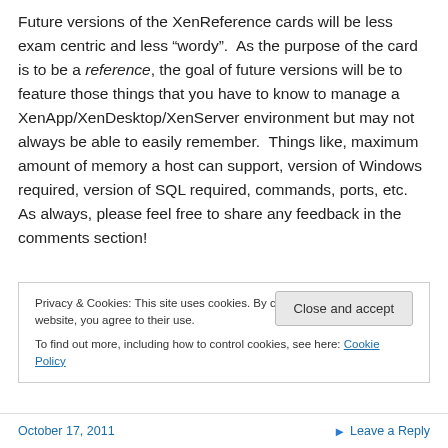Future versions of the XenReference cards will be less exam centric and less “wordy”.  As the purpose of the card is to be a reference, the goal of future versions will be to feature those things that you have to know to manage a XenApp/XenDesktop/XenServer environment but may not always be able to easily remember.  Things like, maximum amount of memory a host can support, version of Windows required, version of SQL required, commands, ports, etc.  As always, please feel free to share any feedback in the comments section!
Privacy & Cookies: This site uses cookies. By continuing to use this website, you agree to their use.
To find out more, including how to control cookies, see here: Cookie Policy
October 17, 2011  Leave a Reply